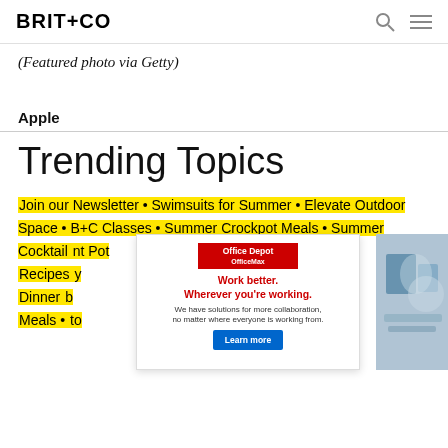BRIT+CO
(Featured photo via Getty)
Apple
Trending Topics
Join our Newsletter • Swimsuits for Summer • Elevate Outdoor Space • B+C Classes • Summer Crockpot Meals • Summer Cocktail ... nt Pot Recipes ... y Dinner ... b Meals • ... to
[Figure (other): Office Depot OfficeMax advertisement with headline 'Work better. Wherever you're working.' and a photo of a woman in a workspace with office supplies. Includes a 'Learn more' button.]